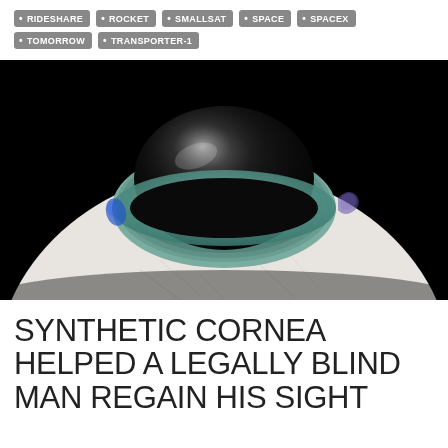RIDESHARE
ROCKET
SMALLSAT
SPACE
SPACEX
TOMORROW
TRANSPORTER-1
[Figure (photo): Close-up 3D render of a human eyeball showing a synthetic cornea implant — a dark, dome-shaped transparent lens seated in the center of the eye, with the white sclera visible and small blue sutures on the left side, against a black background.]
SYNTHETIC CORNEA HELPED A LEGALLY BLIND MAN REGAIN HIS SIGHT